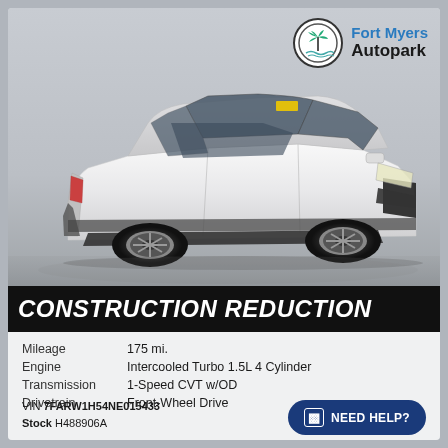[Figure (logo): Fort Myers Autopark logo with palm tree icon in a circle, blue and black text]
[Figure (photo): White Honda CR-V SUV photographed at a slight angle in a studio/lot setting]
CONSTRUCTION REDUCTION
| Mileage | 175 mi. |
| Engine | Intercooled Turbo 1.5L 4 Cylinder |
| Transmission | 1-Speed CVT w/OD |
| Drivetrain | Front-Wheel Drive |
VIN 7FARW1H54NE015433
Stock H488906A
NEED HELP?